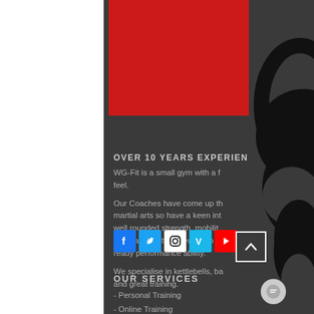[Figure (illustration): Red rectangle block at top center of the dark background panel]
OVER 10 YEARS EXPERIEN
WG-Fit is a small gym with a f feel. Our Coaches have come up th martial arts so have a keen int well rounded strength, mobilit endurance with a view to an a ready performance ability.

We specialise in kettlebells, ba and great training.
[Figure (illustration): Social media icons: Facebook, Twitter, Instagram, Vimeo, YouTube]
[Figure (illustration): Scroll-to-top button with upward chevron]
OUR SERVICES
- Personal Training
- Online Training
- AiM Sports Therapy
[Figure (illustration): Decorative black and white swirl/yin-yang illustration on the right side]
[Figure (illustration): Chat bubble icon button]